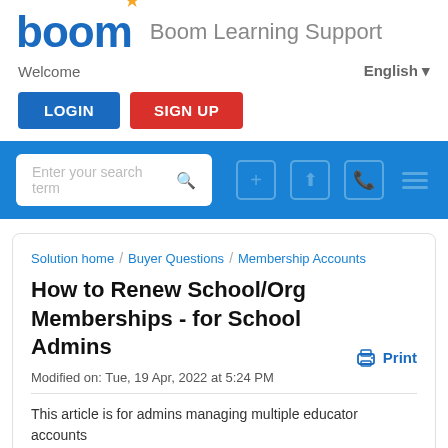[Figure (logo): Boom Learning logo — blue bold 'boom' with orange star, followed by gray 'Boom Learning Support' text]
Welcome
English ▾
LOGIN
SIGN UP
Enter your search term
Solution home / Buyer Questions / Membership Accounts
How to Renew School/Org Memberships - for School Admins
Print
Modified on: Tue, 19 Apr, 2022 at 5:24 PM
This article is for admins managing multiple educator accounts